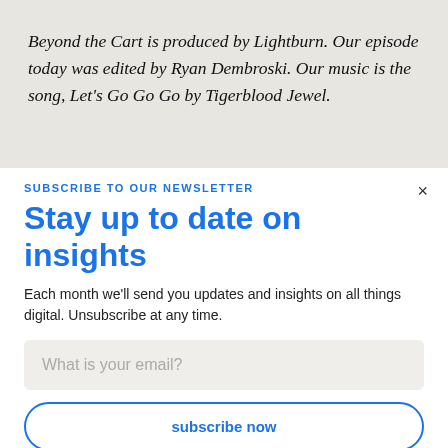Beyond the Cart is produced by Lightburn. Our episode today was edited by Ryan Dembroski. Our music is the song, Let's Go Go Go by Tigerblood Jewel.
×
SUBSCRIBE TO OUR NEWSLETTER
Stay up to date on insights
Each month we'll send you updates and insights on all things digital. Unsubscribe at any time.
What is your email?
subscribe now